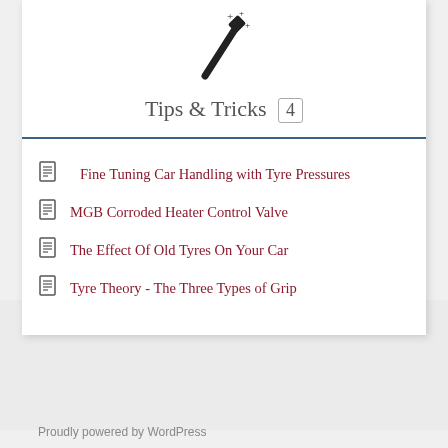[Figure (illustration): Magic wand icon with sparkles stars]
Tips & Tricks 4
Fine Tuning Car Handling with Tyre Pressures
MGB Corroded Heater Control Valve
The Effect Of Old Tyres On Your Car
Tyre Theory - The Three Types of Grip
Proudly powered by WordPress